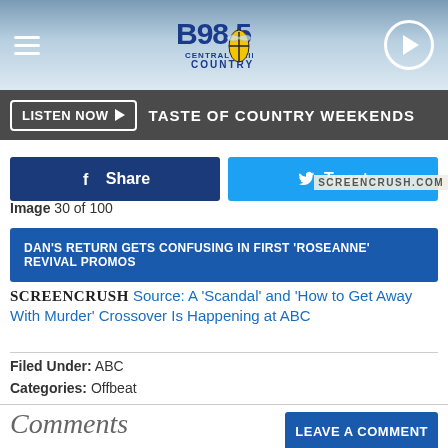[Figure (screenshot): B98.5 Central Illinois Country radio station website header with logo, hamburger menu, and play button]
LISTEN NOW ▶  TASTE OF COUNTRY WEEKENDS
Share  Tweet
SCREENCRUSH.COM
Image 30 of 100
DAN'S RETURN GETS CONFUSING IN FIRST 'ROSEANNE' REVIVAL PROMOS
SCREENCRUSH Source: A 'Scandal' and 'How to Get Away With Murder' Crossover Is Happening at ABC
Filed Under: ABC
Categories: Offbeat
Comments
LEAVE A COMMENT